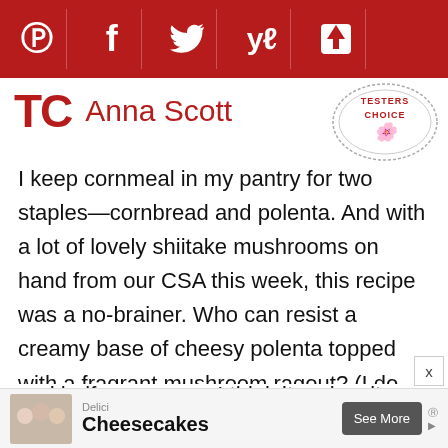[Figure (other): Social sharing toolbar with icons for Pinterest, Facebook, Twitter, Yummly, Flipboard, and a heart/favorite button on a dark red background]
TC  Anna Scott
[Figure (other): Circular stamp watermark reading TESTERS CHOICE with decorative scroll design]
I keep cornmeal in my pantry for two staples—cornbread and polenta. And with a lot of lovely shiitake mushrooms on hand from our CSA this week, this recipe was a no-brainer. Who can resist a creamy base of cheesy polenta topped with a fragrant mushroom ragout? (I do have to confess though, that I did 1 1/4 cups of heavy cream in the polenta pot mixed with 1 1/4 cups of water instead of solely using heavy cream. I like to combine water with milk, half and half, or cream—I think it makes it more...
[Figure (other): Advertisement banner for Delici Cheesecakes with See More button]